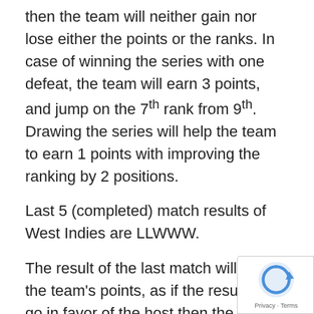then the team will neither gain nor lose either the points or the ranks. In case of winning the series with one defeat, the team will earn 3 points, and jump on the 7th rank from 9th. Drawing the series will help the team to earn 1 points with improving the ranking by 2 positions.
Last 5 (completed) match results of West Indies are LLWWW.
The result of the last match will impact the team's points, as if the result will go in favor of the host then the team will gain 1 point with no change in position, but the visitors will lose 1 point, though position will be unaffected. On the other hand, in case of a reverse result, the visitors will gain 3 points and get improvement in rankings by 1 position, and the host will lose 3 points with no change in position.